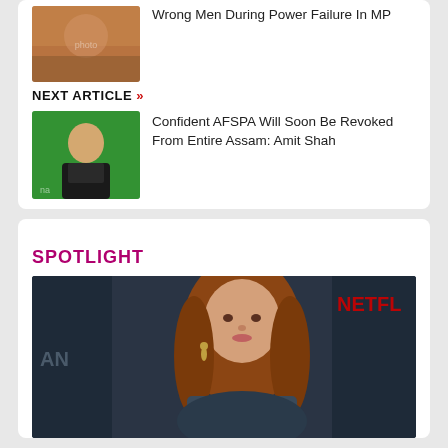[Figure (photo): Top article thumbnail image - decorative/traditional imagery]
Wrong Men During Power Failure In MP
NEXT ARTICLE »
[Figure (photo): Amit Shah speaking at a green-background event]
Confident AFSPA Will Soon Be Revoked From Entire Assam: Amit Shah
SPOTLIGHT
[Figure (photo): Woman with long brown hair at a Netflix event, wearing earrings]